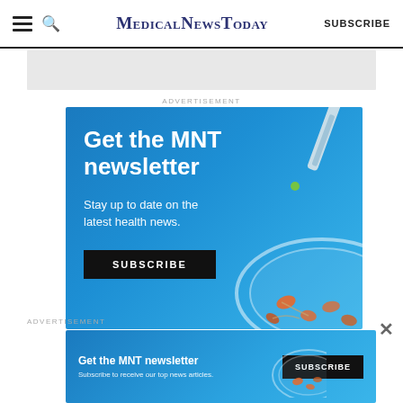MedicalNewsToday — SUBSCRIBE
ADVERTISEMENT
[Figure (illustration): MNT newsletter advertisement banner with blue gradient background, dropper with green liquid drop, petri dish with orange cells, text 'Get the MNT newsletter', 'Stay up to date on the latest health news.', and a black SUBSCRIBE button]
ADVERTISEMENT
[Figure (illustration): Smaller MNT newsletter advertisement strip with blue gradient background, text 'Get the MNT newsletter', 'Subscribe to receive our top news articles.', SUBSCRIBE button, and partial petri dish illustration]